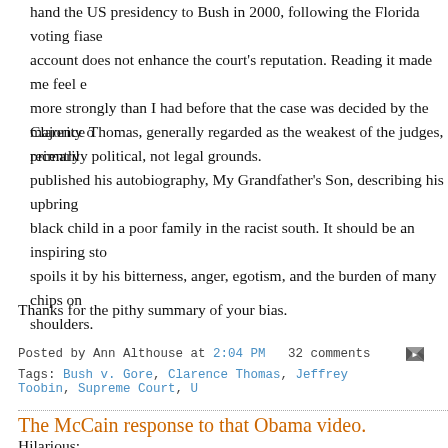hand the US presidency to Bush in 2000, following the Florida voting fiasco account does not enhance the court's reputation. Reading it made me feel e more strongly than I had before that the case was decided by the majority on primarily political, not legal grounds.
Clarence Thomas, generally regarded as the weakest of the judges, recently published his autobiography, My Grandfather's Son, describing his upbringing as a black child in a poor family in the racist south. It should be an inspiring story, but he spoils it by his bitterness, anger, egotism, and the burden of many chips on his shoulders.
Thanks for the pithy summary of your bias.
Posted by Ann Althouse at 2:04 PM   32 comments  [icon]
Tags: Bush v. Gore, Clarence Thomas, Jeffrey Toobin, Supreme Court, U...
The McCain response to that Obama video.
Hilarious: